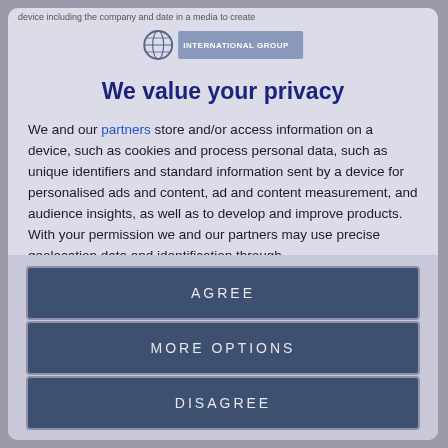device including the company and date in a media to create
[Figure (logo): Globe logo with organization name text block in blue-grey]
We value your privacy
We and our partners store and/or access information on a device, such as cookies and process personal data, such as unique identifiers and standard information sent by a device for personalised ads and content, ad and content measurement, and audience insights, as well as to develop and improve products. With your permission we and our partners may use precise geolocation data and identification through device scanning. You may click to consent to our and our partners'
AGREE
MORE OPTIONS
DISAGREE